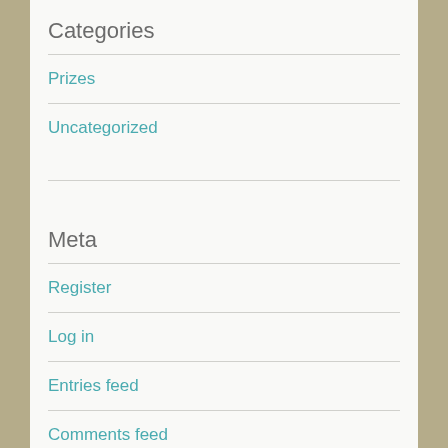Categories
Prizes
Uncategorized
Meta
Register
Log in
Entries feed
Comments feed